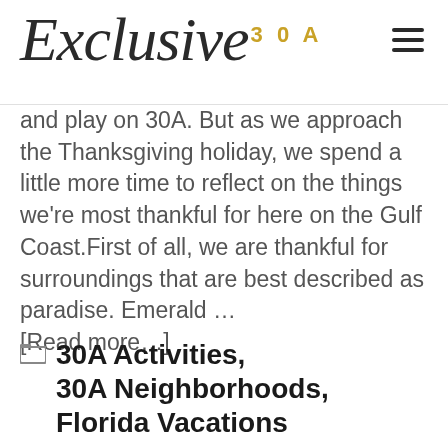Exclusive 30A
and play on 30A. But as we approach the Thanksgiving holiday, we spend a little more time to reflect on the things we're most thankful for here on the Gulf Coast.First of all, we are thankful for surroundings that are best described as paradise. Emerald … [Read more…]
30A Activities, 30A Neighborhoods, Florida Vacations